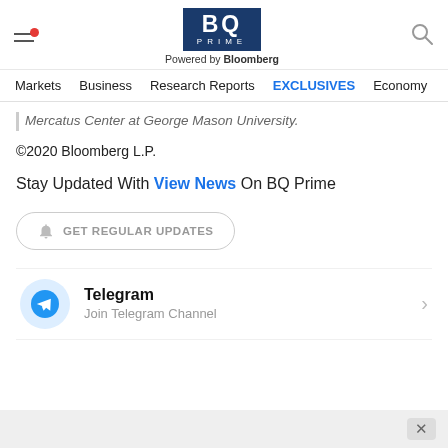[Figure (logo): BQ Prime logo with hamburger menu and search icon in header]
Markets   Business   Research Reports   EXCLUSIVES   Economy
Mercatus Center at George Mason University.
©2020 Bloomberg L.P.
Stay Updated With View News On BQ Prime
GET REGULAR UPDATES
Telegram
Join Telegram Channel